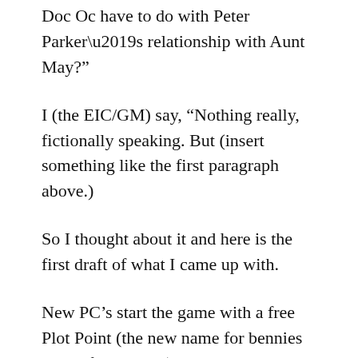Doc Oc have to do with Peter Parker’s relationship with Aunt May?”
I (the EIC/GM) say, “Nothing really, fictionally speaking. But (insert something like the first paragraph above.)
So I thought about it and here is the first draft of what I came up with.
New PC’s start the game with a free Plot Point (the new name for bennies stolen from MHR). You can no longer just burn a bond, get a success, and then figure out the fiction later. However, you do have to trade some drama for triumph. Now you earn Plot Points when you